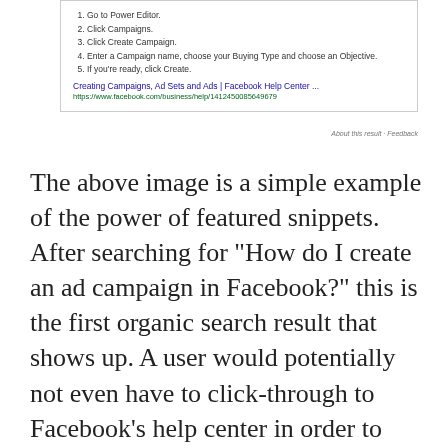[Figure (screenshot): A Google featured snippet showing steps to create an ad campaign in Facebook, with numbered list items and a link to Facebook Help Center.]
The above image is a simple example of the power of featured snippets. After searching for “How do I create an ad campaign in Facebook?” this is the first organic search result that shows up. A user would potentially not even have to click-through to Facebook’s help center in order to have their question answered, which helps reduce friction and improve the customer experience. But more